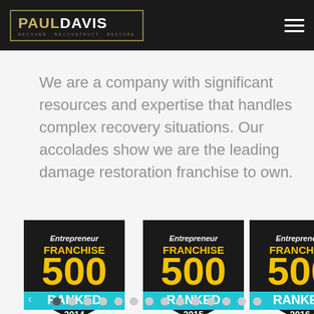[Figure (logo): Paul Davis logo — 'PAUL' in gold, 'DAVIS' in white, tagline 'RECOVER · RECONSTRUCT · RESTORE' in gold, on dark background with gold border]
We are a company with significant resources and expertise that handles complex recovery situations. Our accolades show we are the leading damage restoration franchise to own.
[Figure (illustration): Three Entrepreneur Franchise 500 Ranked badges for 2014, 2015, and 2016 (partially cropped), each shield-shaped with dark background, yellow '500' and 'FRANCHISE', cyan 'RANKED' banner, and year at bottom]
[Figure (other): Carousel dot pagination — 14 dots, first dot filled/dark, rest light gray]